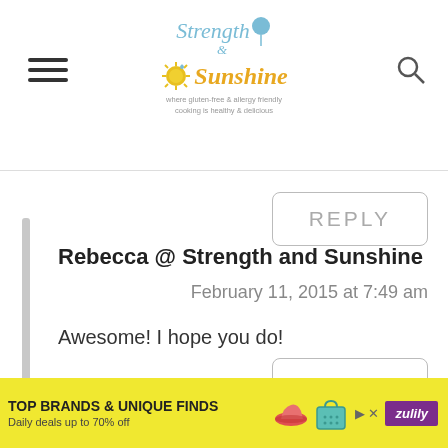Strength & Sunshine — where gluten-free & allergy friendly cooking is healthy & delicious
REPLY
Rebecca @ Strength and Sunshine
February 11, 2015 at 7:49 am
Awesome! I hope you do!
REPLY
[Figure (infographic): Zulily advertisement banner: TOP BRANDS & UNIQUE FINDS — Daily deals up to 70% off, with product images (shoes, handbag) and Zulily logo on yellow background]